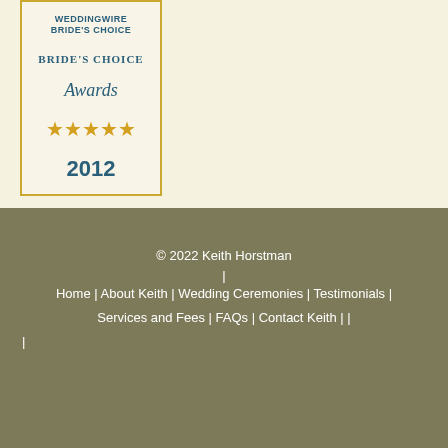[Figure (logo): WeddingWire Bride's Choice Awards 2012 badge with gold border, teal text, and five gold stars]
© 2022 Keith Horstman | Home | About Keith | Wedding Ceremonies | Testimonials | Services and Fees | FAQs | Contact Keith | | |